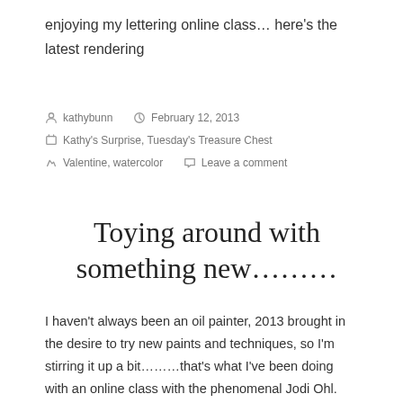enjoying my lettering online class… here's the latest rendering
kathybunn   February 12, 2013   Kathy's Surprise, Tuesday's Treasure Chest   Valentine, watercolor   Leave a comment
Toying around with something new………
I haven't always been an oil painter, 2013 brought in the desire to try new paints and techniques, so I'm stirring it up a bit………that's what I've been doing with an online class with the phenomenal Jodi Ohl. Jodi shares her newest techniques with this